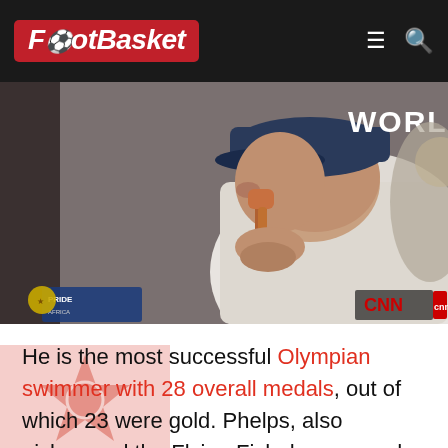FootBasket
[Figure (photo): A man wearing a blue cap and white shirt leaning forward, appearing to use a bong/pipe, with a CNN watermark in the bottom right and 'WORLI' text overlay visible. 'PRIDE' text visible in bottom left corner.]
He is the most successful Olympian swimmer with 28 overall medals, out of which 23 were gold. Phelps, also nicknamed the Flying Fish, has a weed history.